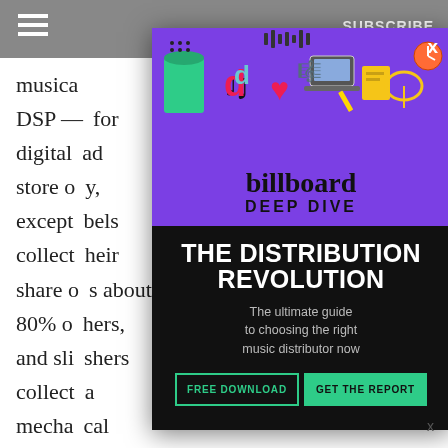≡   SUBSCRIBE
musical ... the DSP — ... for digital ... ad store o... y, except... labels collect... heir share o... s about 80% of... hers, and sli... shers collect... a mecha... cal work e... about 10% o... rights
[Figure (illustration): Billboard Deep Dive advertisement popup with purple top section showing TikTok-themed illustration icons and dark bottom section with 'THE DISTRIBUTION REVOLUTION' headline, subtitle 'The ultimate guide to choosing the right music distributor now', and two CTA buttons: 'FREE DOWNLOAD' and 'GET THE REPORT']
x